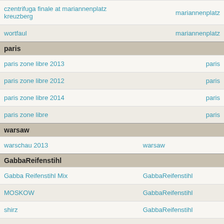| title | location |
| --- | --- |
| czentrifuga finale at mariannenplatz kreuzberg | mariannenplatz |
| wortfaul | mariannenplatz |
| [section] paris |  |
| paris zone libre 2013 | paris |
| paris zone libre 2012 | paris |
| paris zone libre 2014 | paris |
| paris zone libre | paris |
| [section] warsaw |  |
| warschau 2013 | warsaw |
| [section] GabbaReifenstihl |  |
| Gabba Reifenstihl Mix | GabbaReifenstihl |
| MOSKOW | GabbaReifenstihl |
| shirz | GabbaReifenstihl |
| schwarze serie | GabbaReifenstihl |